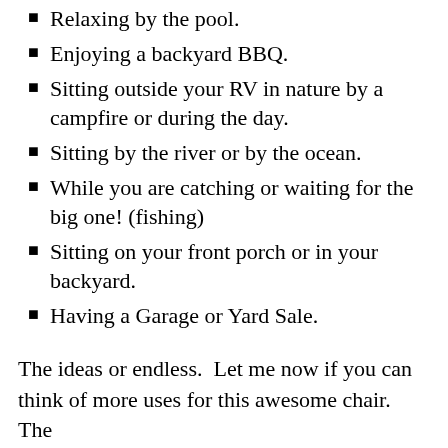Relaxing by the pool.
Enjoying a backyard BBQ.
Sitting outside your RV in nature by a campfire or during the day.
Sitting by the river or by the ocean.
While you are catching or waiting for the big one! (fishing)
Sitting on your front porch or in your backyard.
Having a Garage or Yard Sale.
The ideas or endless.  Let me now if you can think of more uses for this awesome chair.  The